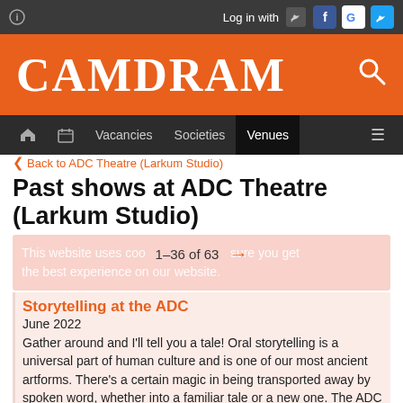CAMDRAM — Log in with [icons]
Vacancies  Societies  Venues
Back to ADC Theatre (Larkum Studio)
Past shows at ADC Theatre (Larkum Studio)
1–36 of 63
Storytelling at the ADC
June 2022
Gather around and I'll tell you a tale! Oral storytelling is a universal part of human culture and is one of our most ancient artforms. There's a certain magic in being transported away by spoken word, whether into a familiar tale or a new one. The ADC is hosting a relaxed evening of storytelling. Come and hear original stories and